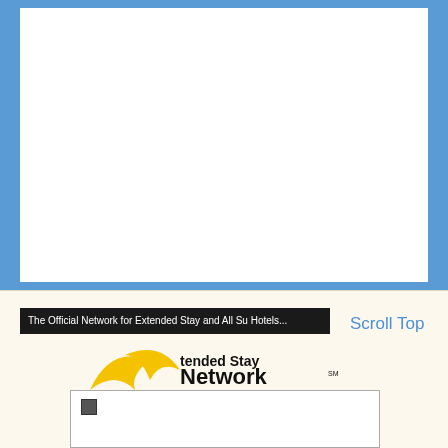[Figure (logo): Blue border / white content area background at top of page]
The Official Network for Extended Stay and All Su Hotels...
Scroll Top
[Figure (logo): Extended Stay Network .com logo with yellow swoosh and black bold text]
[Figure (screenshot): White form box with a small checkbox icon in the upper left]